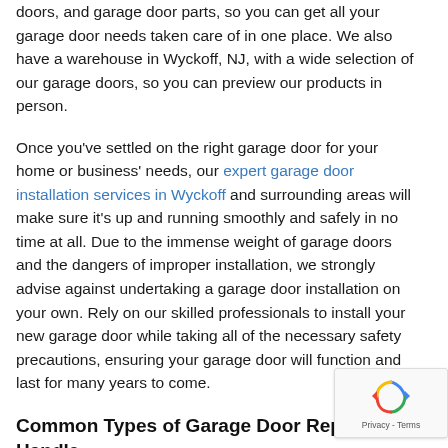doors, and garage door parts, so you can get all your garage door needs taken care of in one place. We also have a warehouse in Wyckoff, NJ, with a wide selection of our garage doors, so you can preview our products in person.
Once you've settled on the right garage door for your home or business' needs, our expert garage door installation services in Wyckoff and surrounding areas will make sure it's up and running smoothly and safely in no time at all. Due to the immense weight of garage doors and the dangers of improper installation, we strongly advise against undertaking a garage door installation on your own. Rely on our skilled professionals to install your new garage door while taking all of the necessary safety precautions, ensuring your garage door will function and last for many years to come.
Common Types of Garage Door Repairs We Handle
Nobody enjoys dealing with a broken garage door. When your garage door doesn't open or close, it can make you late for work or